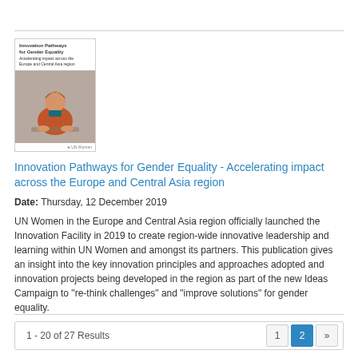[Figure (illustration): Book cover of 'Innovation Pathways for Gender Equality' showing a woman seated at a table]
Innovation Pathways for Gender Equality - Accelerating impact across the Europe and Central Asia region
Date: Thursday, 12 December 2019
UN Women in the Europe and Central Asia region officially launched the Innovation Facility in 2019 to create region-wide innovative leadership and learning within UN Women and amongst its partners. This publication gives an insight into the key innovation principles and approaches adopted and innovation projects being developed in the region as part of the new Ideas Campaign to "re-think challenges" and "improve solutions" for gender equality.
1 - 20 of 27 Results  1  2  »